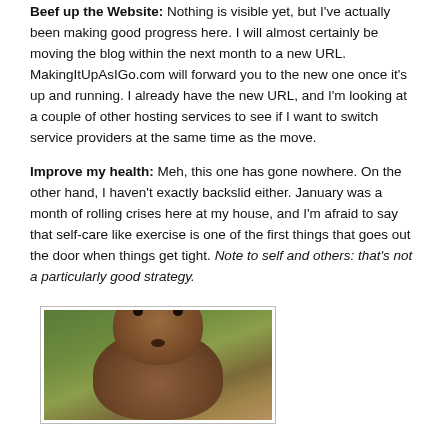Beef up the Website: Nothing is visible yet, but I've actually been making good progress here. I will almost certainly be moving the blog within the next month to a new URL. MakingItUpAsIGo.com will forward you to the new one once it's up and running. I already have the new URL, and I'm looking at a couple of other hosting services to see if I want to switch service providers at the same time as the move.
Improve my health: Meh, this one has gone nowhere. On the other hand, I haven't exactly backslid either. January was a month of rolling crises here at my house, and I'm afraid to say that self-care like exercise is one of the first things that goes out the door when things get tight. Note to self and others: that's not a particularly good strategy.
[Figure (photo): Close-up photo of a groundhog (woodchuck) face and upper body, with brown fur, dark eyes, and small nose, set against a blurred green and brown natural background.]